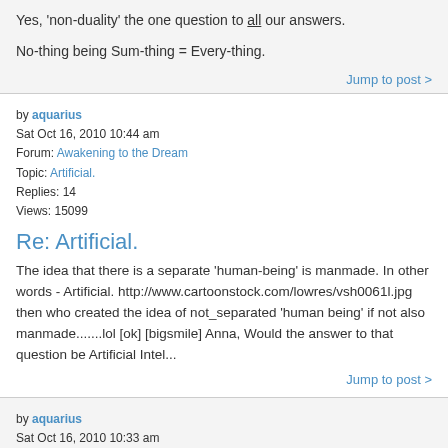Yes, 'non-duality' the one question to all our answers.
No-thing being Sum-thing = Every-thing.
Jump to post >
by aquarius
Sat Oct 16, 2010 10:44 am
Forum: Awakening to the Dream
Topic: Artificial.
Replies: 14
Views: 15099
Re: Artificial.
The idea that there is a separate 'human-being' is manmade. In other words - Artificial. http://www.cartoonstock.com/lowres/vsh0061l.jpg then who created the idea of not_separated 'human being' if not also manmade.......lol [ok] [bigsmile] Anna, Would the answer to that question be Artificial Intel...
Jump to post >
by aquarius
Sat Oct 16, 2010 10:33 am
Forum: Awakening to the Dream
Topic: Water
Replies: 8
Views: 11299